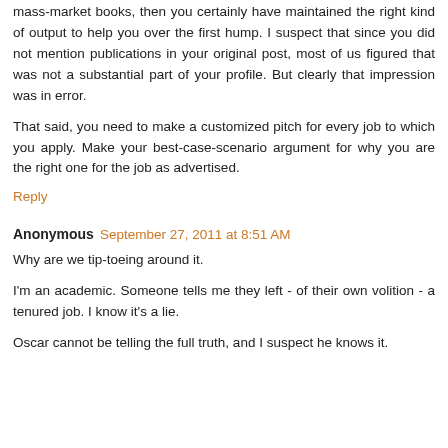mass-market books, then you certainly have maintained the right kind of output to help you over the first hump. I suspect that since you did not mention publications in your original post, most of us figured that was not a substantial part of your profile. But clearly that impression was in error.
That said, you need to make a customized pitch for every job to which you apply. Make your best-case-scenario argument for why you are the right one for the job as advertised.
Reply
Anonymous  September 27, 2011 at 8:51 AM
Why are we tip-toeing around it.
I'm an academic. Someone tells me they left - of their own volition - a tenured job. I know it's a lie.
Oscar cannot be telling the full truth, and I suspect he knows it.